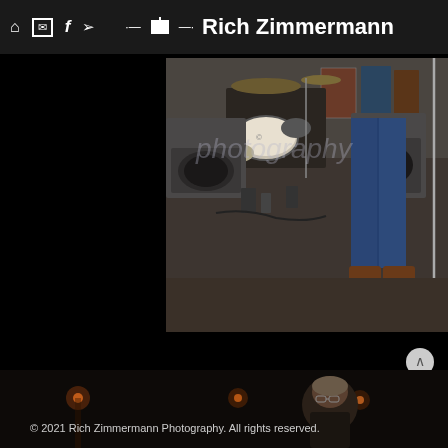Rich Zimmermann Photography - navigation header with home, email, facebook, twitter icons
[Figure (photo): Concert/band stage photo showing drum kit, amplifiers, and person's legs in jeans and brown shoes standing on stage floor. The word 'photography' is faintly overlaid on the image.]
[Figure (photo): Bottom partial photo showing a dimly lit venue with warm lights and a person visible playing music, dark background.]
© 2021 Rich Zimmermann Photography. All rights reserved.